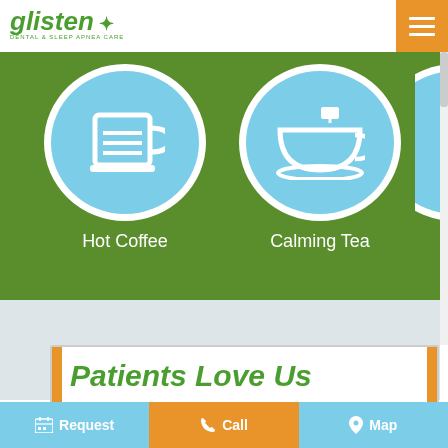[Figure (logo): Glisten Dental & Sleep Apnea Care logo with green italic text and star decoration]
[Figure (illustration): Hot Coffee icon: white mug illustration on light blue circle, on green background with label 'Hot Coffee']
[Figure (illustration): Calming Tea icon: white teacup illustration on light blue circle, on green background with label 'Calming Tea']
[Figure (illustration): Partially visible third icon circle on green background, label starts with 'W']
Patients Love Us
[Figure (infographic): Bottom navigation bar with Request, Call (orange), and Map buttons on blue background]